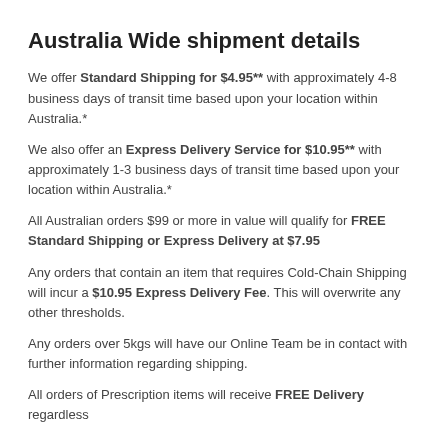Australia Wide shipment details
We offer Standard Shipping for $4.95** with approximately 4-8 business days of transit time based upon your location within Australia.*
We also offer an Express Delivery Service for $10.95** with approximately 1-3 business days of transit time based upon your location within Australia.*
All Australian orders $99 or more in value will qualify for FREE Standard Shipping or Express Delivery at $7.95
Any orders that contain an item that requires Cold-Chain Shipping will incur a $10.95 Express Delivery Fee. This will overwrite any other thresholds.
Any orders over 5kgs will have our Online Team be in contact with further information regarding shipping.
All orders of Prescription items will receive FREE Delivery regardless